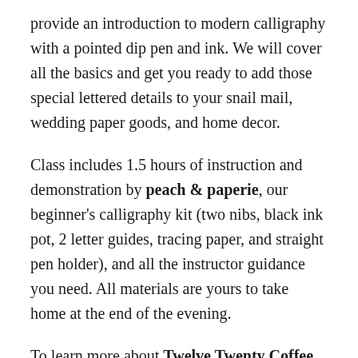provide an introduction to modern calligraphy with a pointed dip pen and ink. We will cover all the basics and get you ready to add those special lettered details to your snail mail, wedding paper goods, and home decor.
Class includes 1.5 hours of instruction and demonstration by peach & paperie, our beginner's calligraphy kit (two nibs, black ink pot, 2 letter guides, tracing paper, and straight pen holder), and all the instructor guidance you need. All materials are yours to take home at the end of the evening.
To learn more about Twelve Twenty Coffee, check out their website and say hey on Instagram.